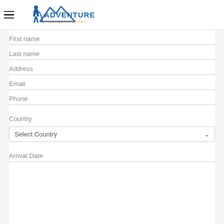[Figure (logo): Adventure Himalaya Nepal logo with mountain silhouette and hiker icon. Blue mountain graphic with blue bold text ADVENTURE and orange smaller text HIMALAYA NEPAL below.]
First name
Last name
Address
Email
Phone
Country
Select Country
Arrival Date